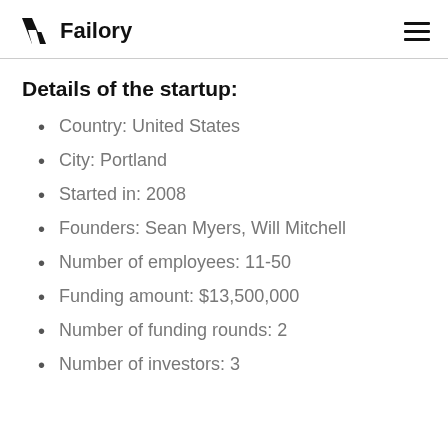Failory
Details of the startup:
Country: United States
City: Portland
Started in: 2008
Founders: Sean Myers, Will Mitchell
Number of employees: 11-50
Funding amount: $13,500,000
Number of funding rounds: 2
Number of investors: 3